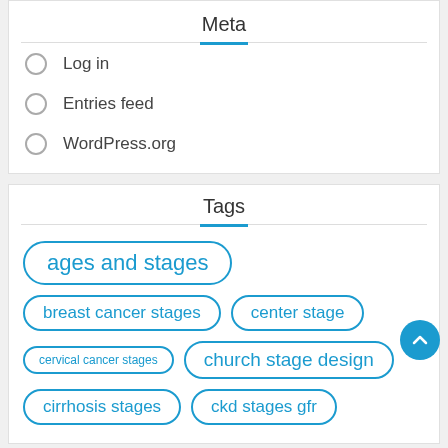Meta
Log in
Entries feed
WordPress.org
Tags
ages and stages
breast cancer stages
center stage
cervical cancer stages
church stage design
cirrhosis stages
ckd stages gfr